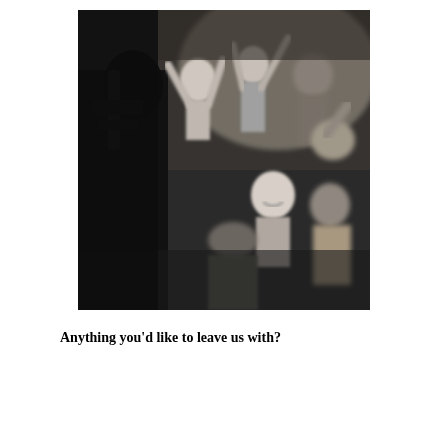[Figure (photo): Black and white photograph of a music concert scene. In the foreground, a dark silhouetted figure (possibly a performer or equipment) is visible. In the background, multiple people are dancing and raising their arms energetically in a crowded venue. The image is slightly blurred/motion-blurred, giving it an energetic feel.]
Anything you'd like to leave us with?